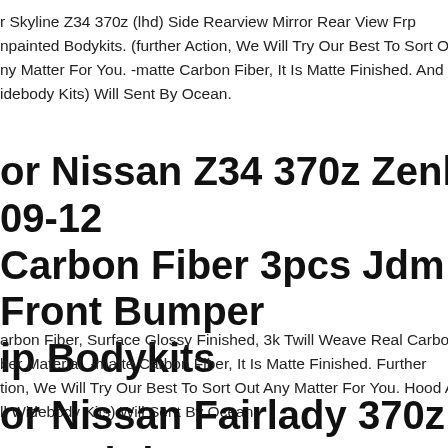r Skyline Z34 370z (lhd) Side Rearview Mirror Rear View Frp npainted Bodykits. (further Action, We Will Try Our Best To Sort Out ny Matter For You. -matte Carbon Fiber, It Is Matte Finished. And Fu idebody Kits) Will Sent By Ocean.
or Nissan Z34 370z Zenki 09-12 Carbon Fiber 3pcs Jdm Front Bumper ip Bodykits
arbon Fiber, Surface Glossy Finished, 3k Twill Weave Real Carbon ber Material. -matte Carbon Fiber, It Is Matte Finished. Further tion, We Will Try Our Best To Sort Out Any Matter For You. Hood An ll Widebody Kits) Will Sent By Ocean.
or Nissan Fairlady 370z Z34 Lhd ear View Mirror Rearview Bodykits